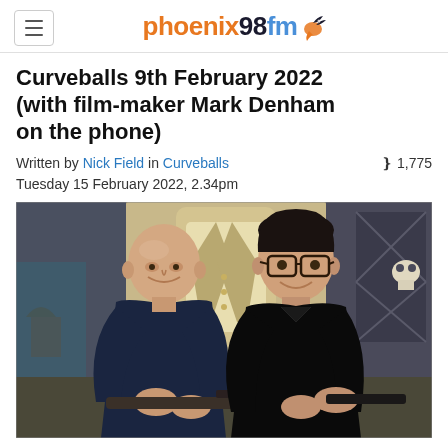phoenix98fm
Curveballs 9th February 2022 (with film-maker Mark Denham on the phone)
Written by Nick Field in Curveballs ❵ 1,775 Tuesday 15 February 2022, 2.34pm
[Figure (photo): Two men posing together indoors, both holding a prop gun/rifle. The man on the left is older, bald, wearing a dark navy t-shirt. The man on the right is younger, wearing glasses and a black shirt. The background features decorative items including a mannequin torso in a suit jacket, a bronze fist sculpture, and skull decorations.]